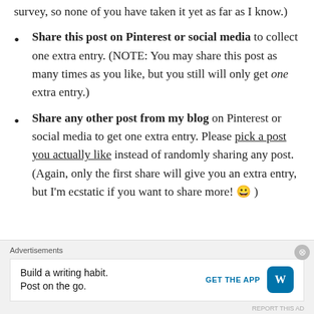survey, so none of you have taken it yet as far as I know.)
Share this post on Pinterest or social media to collect one extra entry. (NOTE: You may share this post as many times as you like, but you still will only get one extra entry.)
Share any other post from my blog on Pinterest or social media to get one extra entry. Please pick a post you actually like instead of randomly sharing any post. (Again, only the first share will give you an extra entry, but I'm ecstatic if you want to share more! 😀 )
Advertisements
Build a writing habit. Post on the go. GET THE APP